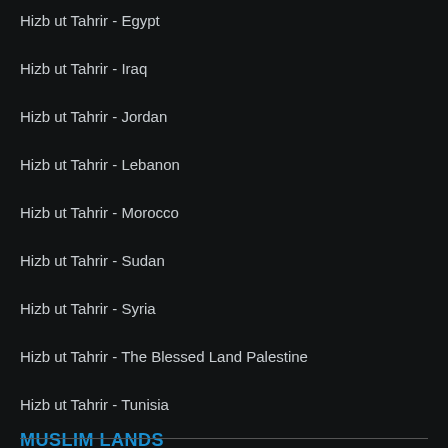Hizb ut Tahrir - Egypt
Hizb ut Tahrir - Iraq
Hizb ut Tahrir - Jordan
Hizb ut Tahrir - Lebanon
Hizb ut Tahrir - Morocco
Hizb ut Tahrir - Sudan
Hizb ut Tahrir - Syria
Hizb ut Tahrir - The Blessed Land Palestine
Hizb ut Tahrir - Tunisia
MUSLIM LANDS